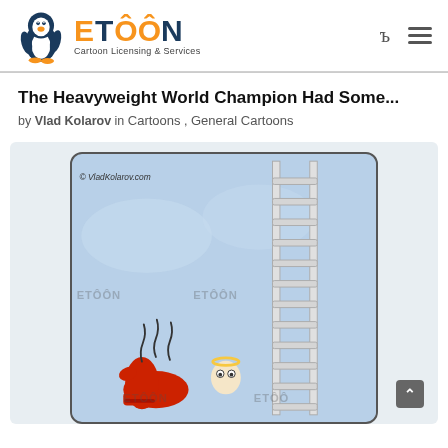ETOON Cartoon Licensing & Services
The Heavyweight World Champion Had Some...
by Vlad Kolarov in Cartoons , General Cartoons
[Figure (illustration): Cartoon illustration showing a boxing ring corner with a red boxing glove on the floor and steam/smoke rising from it, an angel figure with halo visible at bottom right, and a tall ladder going up on the right side. Watermarks reading ETOON visible. Copyright text: © VladKolarov.com]